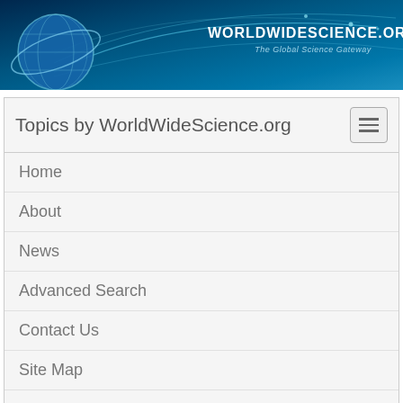[Figure (illustration): WorldWideScience.org website header banner with globe logo, decorative lines/arcs, and site name with tagline 'The Global Science Gateway']
Topics by WorldWideScience.org
Home
About
News
Advanced Search
Contact Us
Site Map
Help
Sample records for philadelphia yellow fever